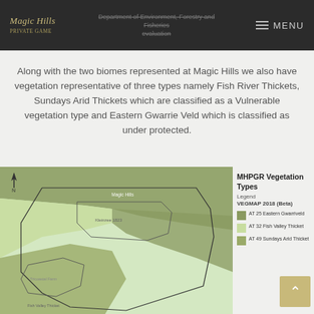Magic Hills | Department of Environment, Forestry and Fisheries evaluation | MENU
Along with the two biomes represented at Magic Hills we also have vegetation representative of three types namely Fish River Thickets, Sundays Arid Thickets which are classified as a Vulnerable vegetation type and Eastern Gwarrie Veld which is classified as under protected.
[Figure (map): MHPGR Vegetation Types map showing three vegetation zones: AT 25 Eastern Gwarriveld (darker olive green), AT 32 Fish Valley Thicket (lighter green), AT 49 Sundays Arid Thicket (medium olive). Property boundaries drawn with thin black lines over the vegetation map. North arrow visible top left. Labels: Magic Hills, Kleinzee 1823, Tricoastal Farm.]
MHPGR Vegetation Types — Legend: VEGMAP 2018 (Beta) — AT 25 Eastern Gwarriveld, AT 32 Fish Valley Thicket, AT 49 Sundays Arid Thicket